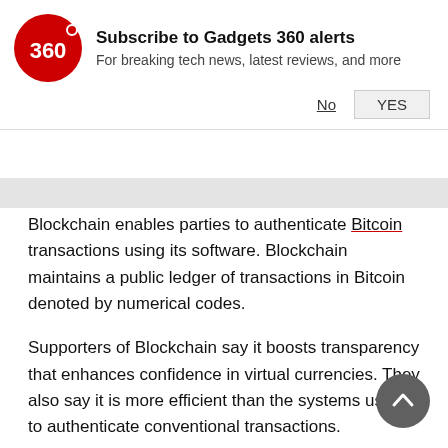[Figure (logo): Gadgets 360 red circular logo with '360' text and dot]
Subscribe to Gadgets 360 alerts
For breaking tech news, latest reviews, and more
No  YES
Blockchain enables parties to authenticate Bitcoin transactions using its software. Blockchain maintains a public ledger of transactions in Bitcoin denoted by numerical codes.
Supporters of Blockchain say it boosts transparency that enhances confidence in virtual currencies. They also say it is more efficient than the systems used to authenticate conventional transactions.
British bank Barclays, US giant Citigroup and Spain's